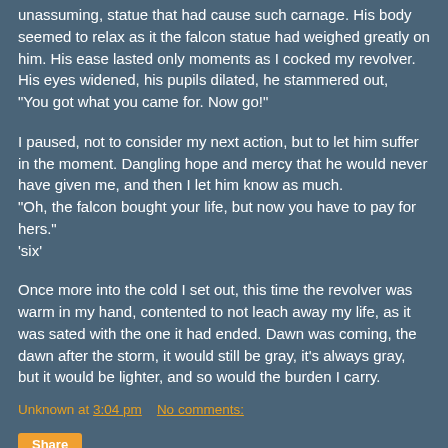unassuming, statue that had cause such carnage. His body seemed to relax as it the falcon statue had weighed greatly on him. His ease lasted only moments as I cocked my revolver. His eyes widened, his pupils dilated, he stammered out,
"You got what you came for. Now go!"
I paused, not to consider my next action, but to let him suffer in the moment. Dangling hope and mercy that he would never have given me, and then I let him know as much.
"Oh, the falcon bought your life, but now you have to pay for hers."
'six'
Once more into the cold I set out, this time the revolver was warm in my hand, contented to not leach away my life, as it was sated with the one it had ended. Dawn was coming, the dawn after the storm, it would still be gray, it's always gray, but it would be lighter, and so would the burden I carry.
Unknown at 3:04 pm    No comments: